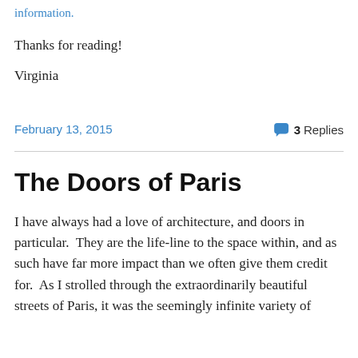information.
Thanks for reading!
Virginia
February 13, 2015
3 Replies
The Doors of Paris
I have always had a love of architecture, and doors in particular.  They are the life-line to the space within, and as such have far more impact than we often give them credit for.  As I strolled through the extraordinarily beautiful streets of Paris, it was the seemingly infinite variety of